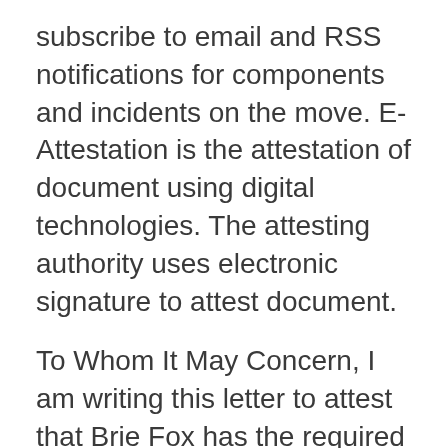subscribe to email and RSS notifications for components and incidents on the move. E-Attestation is the attestation of document using digital technologies. The attesting authority uses electronic signature to attest document.
To Whom It May Concern, I am writing this letter to attest that Brie Fox has the required experience to sit the Leadership In Construction exam after working as an apprentice under myself, at 3K Construction, on a 6 month project in 2009. attestation definition: 1. a formal statement that you make and officially say is true 2. a formal statement that you make…. Learn more.
Latent
Lines for cars to pass through tolls can get